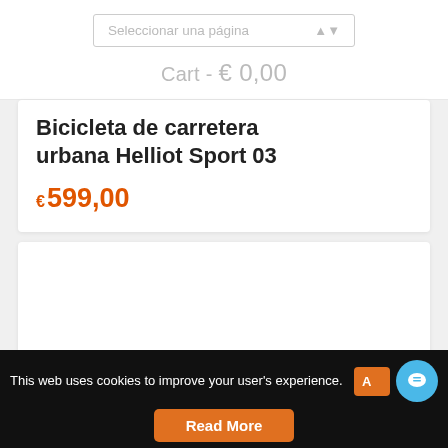Seleccionar una página
Cart - € 0,00
Bicicleta de carretera urbana Helliot Sport 03
€ 599,00
[Figure (other): Empty white product card area]
This web uses cookies to improve your user's experience.
Read More